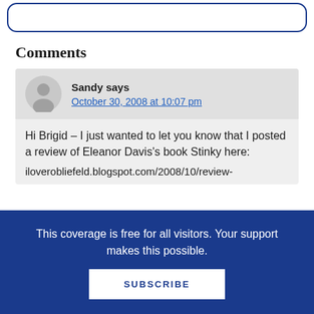Comments
Sandy says
October 30, 2008 at 10:07 pm
Hi Brigid – I just wanted to let you know that I posted a review of Eleanor Davis's book Stinky here:
iloverobliefeld.blogspot.com/2008/10/review-
This coverage is free for all visitors. Your support makes this possible.
SUBSCRIBE